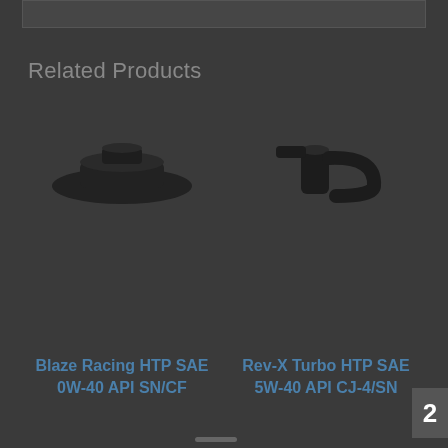Related Products
[Figure (illustration): Partial view of an oil bottle cap/top for Blaze Racing HTP SAE 0W-40 API SN/CF product]
Blaze Racing HTP SAE 0W-40 API SN/CF
[Figure (illustration): Partial view of an oil bottle cap/top for Rev-X Turbo HTP SAE 5W-40 API CJ-4/SN product]
Rev-X Turbo HTP SAE 5W-40 API CJ-4/SN